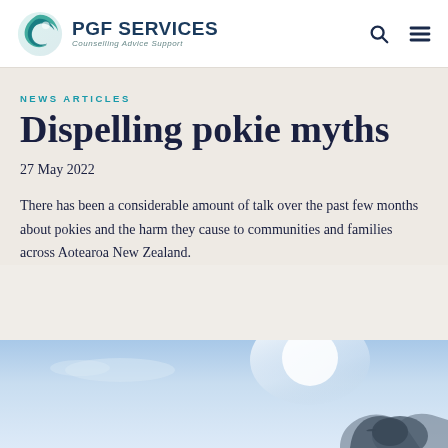PGF Services — Counselling Advice Support
NEWS ARTICLES
Dispelling pokie myths
27 May 2022
There has been a considerable amount of talk over the past few months about pokies and the harm they cause to communities and families across Aotearoa New Zealand.
[Figure (photo): Blue sky photo with silhouette of a bird (kiwi), partially visible at bottom of page]